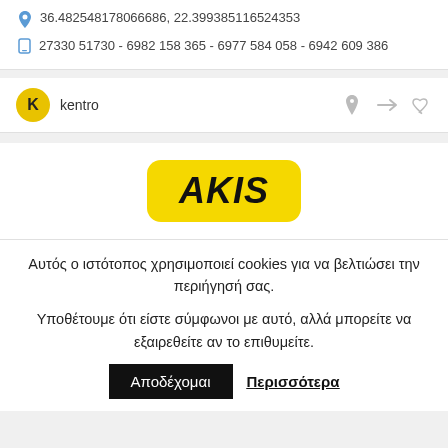36.482548178066686, 22.399385116524353
27330 51730 - 6982 158 365 - 6977 584 058 - 6942 609 386
kentro
[Figure (logo): AKIS yellow rounded badge logo with bold italic black text]
Αυτός ο ιστότοπος χρησιμοποιεί cookies για να βελτιώσει την περιήγησή σας.
Υποθέτουμε ότι είστε σύμφωνοι με αυτό, αλλά μπορείτε να εξαιρεθείτε αν το επιθυμείτε.
Αποδέχομαι
Περισσότερα